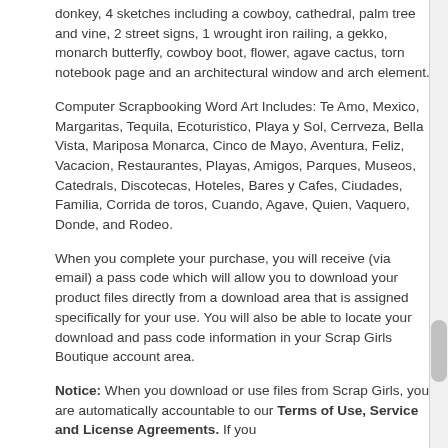donkey, 4 sketches including a cowboy, cathedral, palm tree and vine, 2 street signs, 1 wrought iron railing, a gekko, monarch butterfly, cowboy boot, flower, agave cactus, torn notebook page and an architectural window and arch element.
Computer Scrapbooking Word Art Includes: Te Amo, Mexico, Margaritas, Tequila, Ecoturistico, Playa y Sol, Cerrveza, Bella Vista, Mariposa Monarca, Cinco de Mayo, Aventura, Feliz, Vacacion, Restaurantes, Playas, Amigos, Parques, Museos, Catedrals, Discotecas, Hoteles, Bares y Cafes, Ciudades, Familia, Corrida de toros, Cuando, Agave, Quien, Vaquero, Donde, and Rodeo.
When you complete your purchase, you will receive (via email) a pass code which will allow you to download your product files directly from a download area that is assigned specifically for your use. You will also be able to locate your download and pass code information in your Scrap Girls Boutique account area.
Notice: When you download or use files from Scrap Girls, you are automatically accountable to our Terms of Use, Service and License Agreements. If you